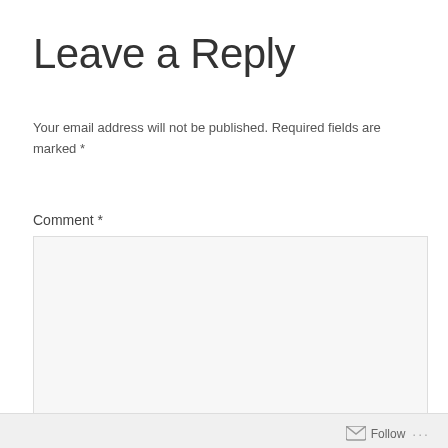Leave a Reply
Your email address will not be published. Required fields are marked *
Comment *
Follow ...